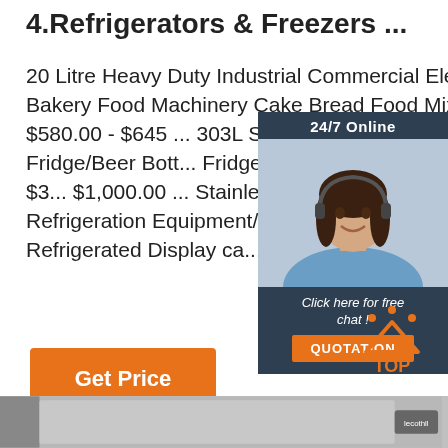4.Refrigerators & Freezers ...
20 Litre Heavy Duty Industrial Commercial Electric Bakery Food Machinery Cake Bread Food Mixer. $580.00 - $645 ... 303L S... Glass Door Back Bar Fridge/Beer Bott... Fridge/Bar Fridge With Glass Door. $3... $1,000.00 ... Stainless Steel Commerc... Refrigeration Equipment/Refrigerator D... Topping/Small Refrigerated Display ca... $500.00 ...
[Figure (photo): Chat widget with woman wearing headset, dark blue background, '24/7 Online' header, 'Click here for free chat!' text, orange QUOTATION button]
[Figure (other): Orange 'Get Price' button]
[Figure (other): TOP arrow icon in orange and dots]
[Figure (photo): Bottom strip showing commercial refrigerator equipment image]